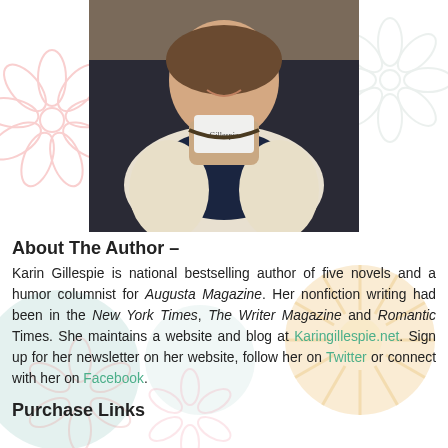[Figure (photo): Photo of Karin Gillespie, a woman smiling and holding a small card/gift card, wearing a white knit cardigan over a dark top with a beaded necklace.]
About The Author –
Karin Gillespie is national bestselling author of five novels and a humor columnist for Augusta Magazine. Her nonfiction writing had been in the New York Times, The Writer Magazine and Romantic Times. She maintains a website and blog at Karingillespie.net. Sign up for her newsletter on her website, follow her on Twitter or connect with her on Facebook.
Purchase Links